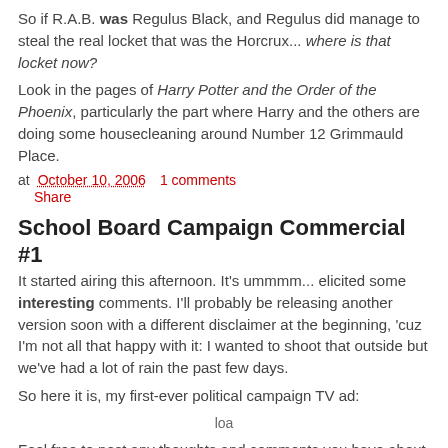So if R.A.B. was Regulus Black, and Regulus did manage to steal the real locket that was the Horcrux... where is that locket now?
Look in the pages of Harry Potter and the Order of the Phoenix, particularly the part where Harry and the others are doing some housecleaning around Number 12 Grimmauld Place.
at October 10, 2006    1 comments
    Share
School Board Campaign Commercial #1
It started airing this afternoon. It's ummmm... elicited some interesting comments. I'll probably be releasing another version soon with a different disclaimer at the beginning, 'cuz I'm not all that happy with it: I wanted to shoot that outside but we've had a lot of rain the past few days.
So here it is, my first-ever political campaign TV ad:
loa
Feel free to post any thoughts and comments you have about it on this blog entry.
at October 06, 2006    7 comments
    Share
Baring "Tooth and Claw" tonight on DOCTOR WHO